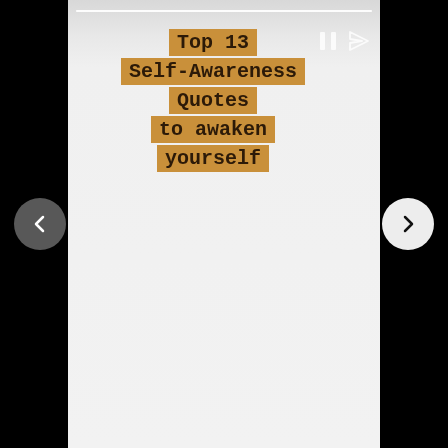Top 13 Self-Awareness Quotes to awaken yourself
[Figure (screenshot): Mobile story UI with navigation arrows (left dark circle with '<', right white circle with '>'), a progress bar at top, and pause/share icons. Background is light gray gradient.]